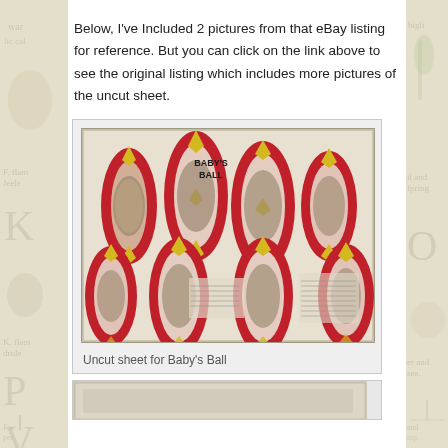Below, I've Included 2 pictures from that eBay listing for reference. But you can click on the link above to see the original listing which includes more pictures of the uncut sheet.
[Figure (photo): Uncut sheet for Baby's Ball — a vintage paper toy sheet showing red petal/leaf shaped panels with yellow diamond accents arranged in two rows. Inside each panel are oval vignettes with illustrations of children in Victorian-era scenes. The title 'BABY'S BALL' appears in bold text in the upper portion of the sheet.]
Uncut sheet for Baby's Ball
[Figure (photo): Partial view of another document or image, shown at the very bottom of the page (cropped).]